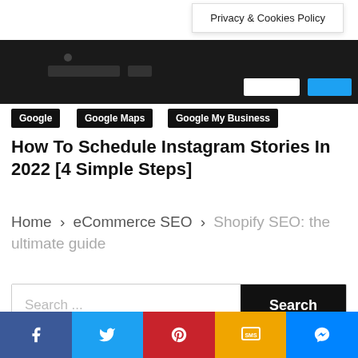Privacy & Cookies Policy
[Figure (screenshot): Dark browser/app screenshot banner showing navigation elements]
Google
Google Maps
Google My Business
How To Schedule Instagram Stories In 2022 [4 Simple Steps]
Home > eCommerce SEO > Shopify SEO: the ultimate guide
Search ...
Social share bar: Facebook, Twitter, Pinterest, SMS, Messenger